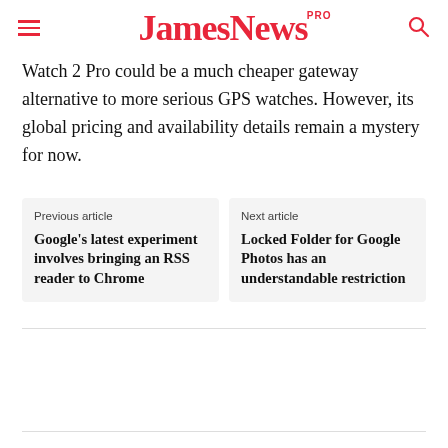JamesNews PRO
Watch 2 Pro could be a much cheaper gateway alternative to more serious GPS watches. However, its global pricing and availability details remain a mystery for now.
Previous article
Google's latest experiment involves bringing an RSS reader to Chrome
Next article
Locked Folder for Google Photos has an understandable restriction